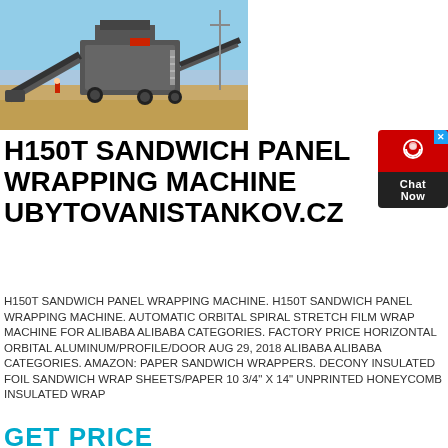[Figure (photo): Outdoor industrial heavy machinery / crushing plant equipment on a dirt site with blue sky]
H150T SANDWICH PANEL WRAPPING MACHINE UBYTOVANISTANKOV.CZ
H150T SANDWICH PANEL WRAPPING MACHINE. H150T SANDWICH PANEL WRAPPING MACHINE. AUTOMATIC ORBITAL SPIRAL STRETCH FILM WRAP MACHINE FOR ALIBABA ALIBABA CATEGORIES. FACTORY PRICE HORIZONTAL ORBITAL ALUMINUM/PROFILE/DOOR AUG 29, 2018 ALIBABA ALIBABA CATEGORIES. AMAZON: PAPER SANDWICH WRAPPERS. DECONY INSULATED FOIL SANDWICH WRAP SHEETS/PAPER 10 3/4" X 14" UNPRINTED HONEYCOMB INSULATED WRAP
GET PRICE